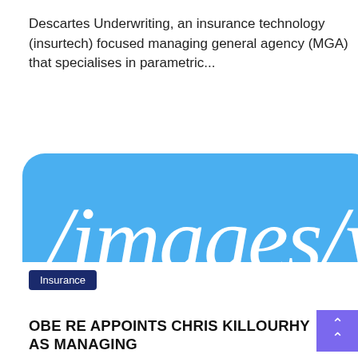Descartes Underwriting, an insurance technology (insurtech) focused managing general agency (MGA) that specialises in parametric...
[Figure (screenshot): A large blue rounded rectangle card with broken image placeholder text showing '/images/wic' on the first line and 'icon.svg' on the second line, indicating a missing image in a web interface.]
Insurance
OBE RE APPOINTS CHRIS KILLOURHY AS MANAGING